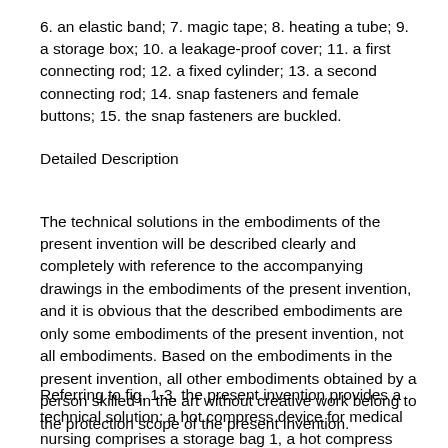6. an elastic band; 7. magic tape; 8. heating a tube; 9. a storage box; 10. a leakage-proof cover; 11. a first connecting rod; 12. a fixed cylinder; 13. a second connecting rod; 14. snap fasteners and female buttons; 15. the snap fasteners are buckled.
Detailed Description
The technical solutions in the embodiments of the present invention will be described clearly and completely with reference to the accompanying drawings in the embodiments of the present invention, and it is obvious that the described embodiments are only some embodiments of the present invention, not all embodiments. Based on the embodiments in the present invention, all other embodiments obtained by a person skilled in the art without creative work belong to the protection scope of the present invention.
Referring to fig. 1-3, the present invention provides a technical solution: a hot compress device for medical nursing comprises a storage bag 1, a hot compress pad 2, a power supply interface 3, a mounting groove 4, a mounting base 5, an elastic band 6, a magic tape 7, a